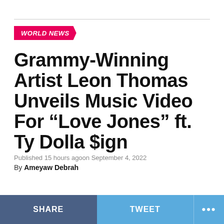WORLD NEWS
Grammy-Winning Artist Leon Thomas Unveils Music Video For “Love Jones” ft. Ty Dolla $ign
Published 15 hours agoon September 4, 2022
By Ameyaw Debrah